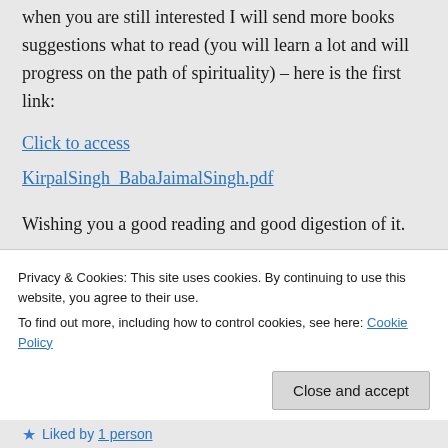when you are still interested I will send more books suggestions what to read (you will learn a lot and will progress on the path of spirituality) – here is the first link:
Click to access KirpalSingh_BabaJaimalSingh.pdf
Wishing you a good reading and good digestion of it.
Whenever you have any questions I will do
Privacy & Cookies: This site uses cookies. By continuing to use this website, you agree to their use.
To find out more, including how to control cookies, see here: Cookie Policy
Close and accept
Liked by 1 person